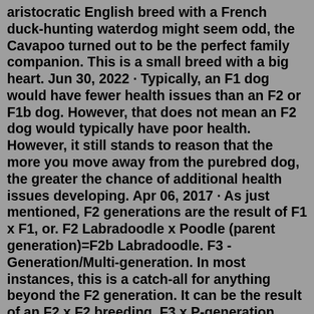aristocratic English breed with a French duck-hunting waterdog might seem odd, the Cavapoo turned out to be the perfect family companion. This is a small breed with a big heart. Jun 30, 2022 · Typically, an F1 dog would have fewer health issues than an F2 or F1b dog. However, that does not mean an F2 dog would typically have poor health. However, it still stands to reason that the more you move away from the purebred dog, the greater the chance of additional health issues developing. Apr 06, 2017 · As just mentioned, F2 generations are the result of F1 x F1, or. F2 Labradoodle x Poodle (parent generation)=F2b Labradoodle. F3 - Generation/Multi-generation. In most instances, this is a catch-all for anything beyond the F2 generation. It can be the result of an F2 x F2 breeding, F3 x P-generation (F3b), or any other complex generational ... An F1 Cavapoo will generally not grow any larger than 14″, and this is because the poodle variant is stronger due to the larger size than the Cavalier King Charles Spaniel. The F1b Cavapoo will therefore be ...